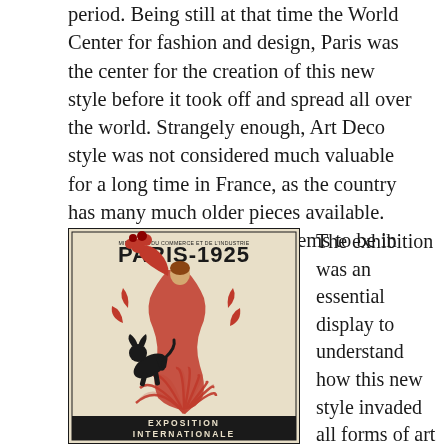period. Being still at that time the World Center for fashion and design, Paris was the center for the creation of this new style before it took off and spread all over the world. Strangely enough, Art Deco style was not considered much valuable for a long time in France, as the country has many much older pieces available. With the years passing, it seems to be in fashion again.
[Figure (illustration): Paris 1925 Exposition Internationale poster featuring a stylized Art Deco woman with flowing red dress holding flowers above her head, with a black dog leaping at her feet, decorative floral and fan motifs in red and black on cream background. Text reads: MINISTERE DU COMMERCE ET DE L'INDUSTRIE / PARIS-1925 / EXPOSITION INTERNATIONALE]
The exhibition was an essential display to understand how this new style invaded all forms of art from architecture and interior design to textile, fragrance, automobile, ships design. In the boiling